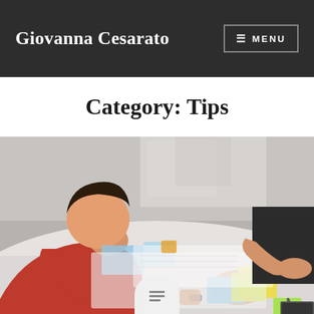Giovanna Cesarato
Category: Tips
[Figure (photo): People sitting around a white table working with sticky notes and index cards in a brainstorming or workshop session. A person in a red shirt is in the foreground handling a light blue card. There are colorful sticky notes (yellow, green, blue) on the table.]